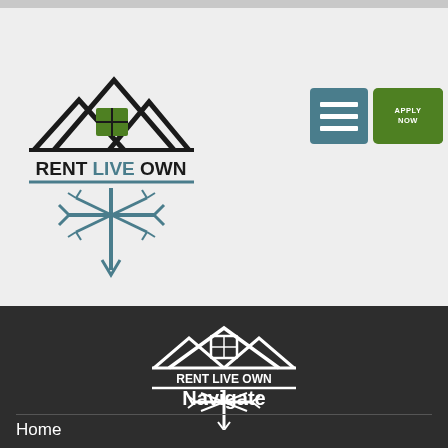[Figure (logo): Rent Live Own logo in color: house with mountains and snowflake, with text RENT LIVE OWN]
[Figure (screenshot): Teal/blue hamburger menu button with three horizontal white lines]
[Figure (screenshot): Green APPLY NOW button]
[Figure (logo): Rent Live Own white logo on dark background: house with mountains, text RENT LIVE OWN, snowflake below]
Navigate
Home